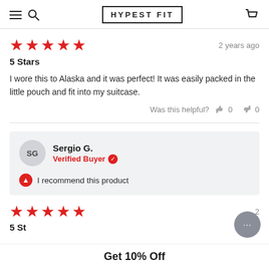HYPEST FIT
5 Stars
I wore this to Alaska and it was perfect! It was easily packed in the little pouch and fit into my suitcase.
Was this helpful? 0 0
Sergio G. Verified Buyer
I recommend this product
Get 10% Off